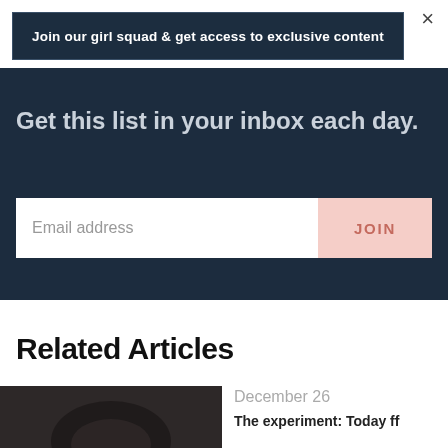×
Join our girl squad & get access to exclusive content
Get this list in your inbox each day.
Email address
JOIN
Related Articles
December 26